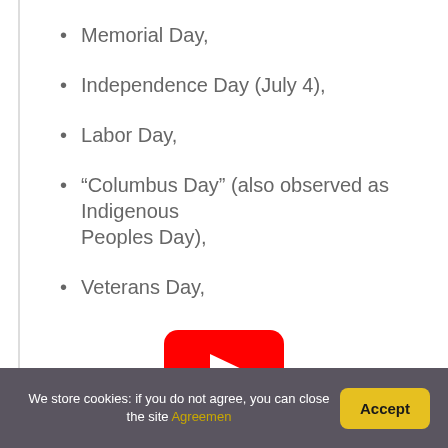Memorial Day,
Independence Day (July 4),
Labor Day,
“Columbus Day” (also observed as Indigenous Peoples Day),
Veterans Day,
[Figure (other): YouTube play button icon (red rounded rectangle with white triangle play arrow)]
We store cookies: if you do not agree, you can close the site Agreemen